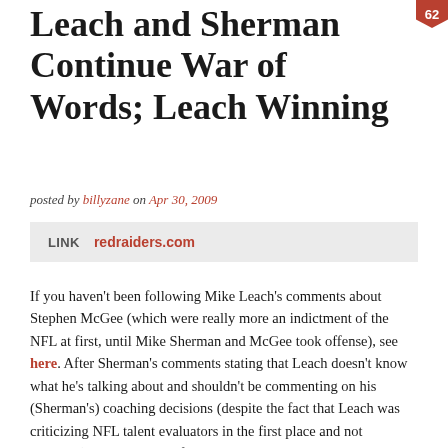Leach and Sherman Continue War of Words; Leach Winning
posted by billyzane on Apr 30, 2009
LINK   redraiders.com
If you haven't been following Mike Leach's comments about Stephen McGee (which were really more an indictment of the NFL at first, until Mike Sherman and McGee took offense), see here. After Sherman's comments stating that Leach doesn't know what he's talking about and shouldn't be commenting on his (Sherman's) coaching decisions (despite the fact that Leach was criticizing NFL talent evaluators in the first place and not Sherman), Leach went in for the kill: "I've always said that it is truly exciting to play Texas A&M - the quality of coaches they have, the great team and great tradition and, above all, the quality of players they have," Leach continued. "I've always known A&M had great players. The fact that they have the luxury to put a third- or fourth-round draft pick on the bench, to me, identifies what a truly great team they are. "It's an honor for us at